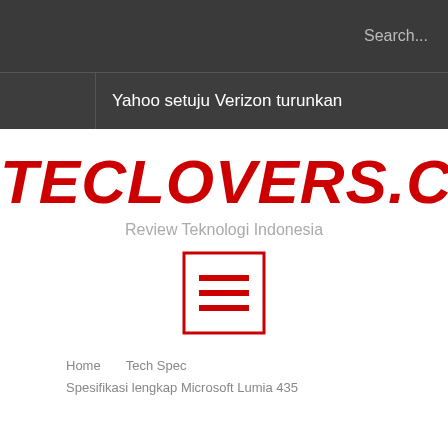Search...
Yahoo setuju Verizon turunkan
TECLOVERS.COM
Review Teknologi Indonesia
[Figure (other): Hamburger menu icon: three horizontal lines inside a red square border]
Home   Tech Spec
Spesifikasi lengkap Microsoft Lumia 435